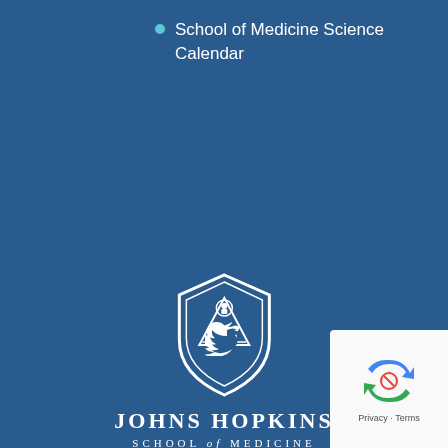School of Medicine Science Calendar
[Figure (logo): Johns Hopkins School of Medicine logo with shield crest and text]
[Figure (illustration): Wheelchair accessibility icon in circle]
[Figure (illustration): Twitter bird icon]
[Figure (illustration): Google reCAPTCHA widget with Privacy and Terms links]